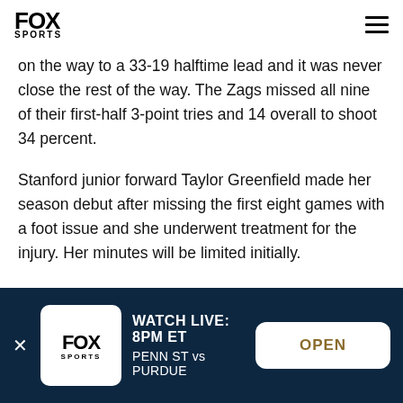FOX SPORTS
on the way to a 33-19 halftime lead and it was never close the rest of the way. The Zags missed all nine of their first-half 3-point tries and 14 overall to shoot 34 percent.
Stanford junior forward Taylor Greenfield made her season debut after missing the first eight games with a foot issue and she underwent treatment for the injury. Her minutes will be limited initially.
WATCH LIVE: 8PM ET PENN ST vs PURDUE OPEN